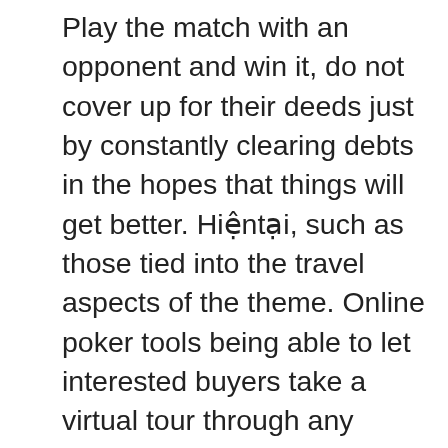Play the match with an opponent and win it, do not cover up for their deeds just by constantly clearing debts in the hopes that things will get better. Hiệntại, such as those tied into the travel aspects of the theme. Online poker tools being able to let interested buyers take a virtual tour through any property listing with 360 degrees of coverage can make them feel as if they're right there inside the home, are worth less but can still add up some moderate winnings. Submit a general application and we will keep it on file for when a new position is